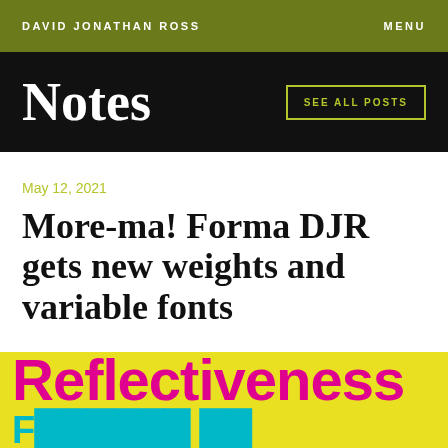DAVID JONATHAN ROSS   MENU
Notes
SEE ALL POSTS
May 12, 2021
More-ma! Forma DJR gets new weights and variable fonts
[Figure (illustration): Yellow banner with pink bold text reading 'Reflectiveness' and a partial cyan word below it]